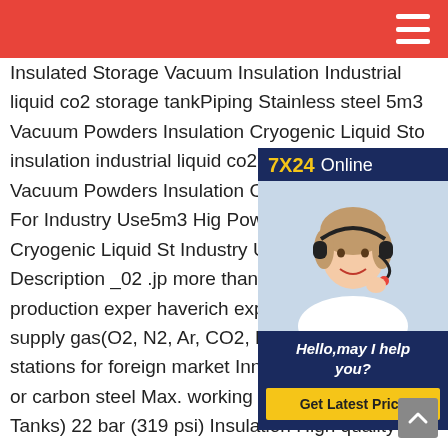Insulated Storage Vacuum Insulation Industrial liquid co2 storage tankPiping Stainless steel 5m3 Vacuum Powders Insulation Cryogenic Liquid Storage insulation industrial liquid co2 storage tank Quality Vacuum Powders Insulation Cryogenic Liquid Storage Tank For Industry Use5m3 High Powders Insulation Cryogenic Liquid Storage Industry Use Product Description _02 .jp more than 17 years of production experience haverich exporte experience.We supply gas(O2, N2, Ar, CO2, LNG etc) filling stations for foreign market Inner vessel Stainless or carbon steel Max. working pressure(CO 2 -Tanks) 22 bar (319 psi) Insulation High quality vacuum perlite Outer vessel Carbon steel LCO2 Storage Tanks,Bulk Storage tank
[Figure (photo): Customer service agent with headset, 7X24 Online chat widget with Hello may I help you? and Get Latest Price button]